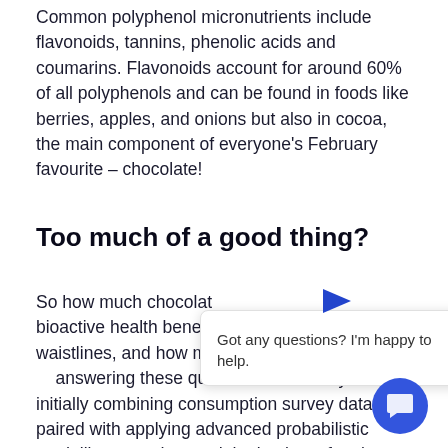Common polyphenol micronutrients include flavonoids, tannins, phenolic acids and coumarins. Flavonoids account for around 60% of all polyphenols and can be found in foods like berries, apples, and onions but also in cocoa, the main component of everyone's February favourite – chocolate!
Too much of a good thing?
So how much chocolat… bioactive health benef… waistlines, and how mu… answering these questions accurately is by initially combining consumption survey data paired with applying advanced probabilistic modelling to understand the intakes of various bioactive compounds in detail. One of the critical steps